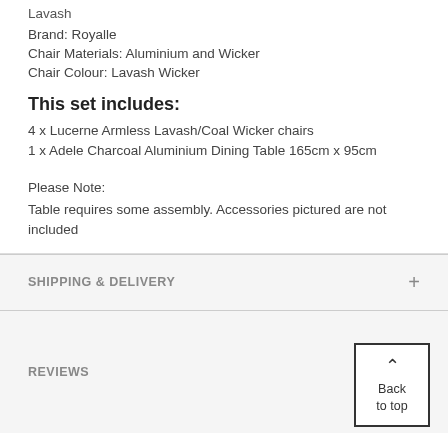Lavash
Brand: Royalle
Chair Materials: Aluminium and Wicker
Chair Colour: Lavash Wicker
This set includes:
4 x Lucerne Armless Lavash/Coal Wicker chairs
1 x Adele Charcoal Aluminium Dining Table 165cm x 95cm
Please Note:
Table requires some assembly. Accessories pictured are not included
SHIPPING & DELIVERY
REVIEWS